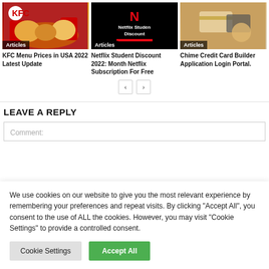[Figure (photo): KFC food image with fried chicken, biscuits and red cups]
[Figure (photo): Netflix Student Discount promotional image with Netflix N logo on black background]
[Figure (photo): Chime Credit Card Builder image showing person holding credit card and phone]
Articles
Articles
Articles
KFC Menu Prices in USA 2022 Latest Update
Netflix Student Discount 2022: Month Netflix Subscription For Free
Chime Credit Card Builder Application Login Portal.
LEAVE A REPLY
Comment:
We use cookies on our website to give you the most relevant experience by remembering your preferences and repeat visits. By clicking “Accept All”, you consent to the use of ALL the cookies. However, you may visit "Cookie Settings" to provide a controlled consent.
Cookie Settings
Accept All